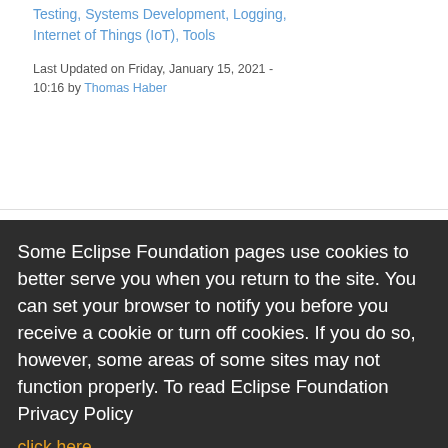Testing, Systems Development, Logging, Internet of Things (IoT), Tools
Last Updated on Friday, January 15, 2021 - 10:16 by Thomas Haber
Some Eclipse Foundation pages use cookies to better serve you when you return to the site. You can set your browser to notify you before you receive a cookie or turn off cookies. If you do so, however, some areas of some sites may not function properly. To read Eclipse Foundation Privacy Policy click here.
Eclipse XPath evaluation